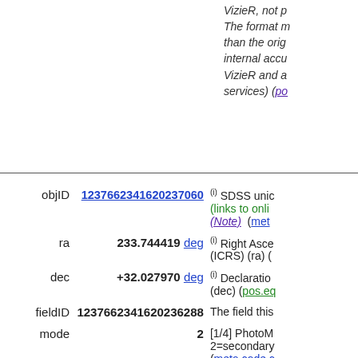VizieR, not p... The format m... than the orig... internal accu... VizieR and a... services) (po...
| Field | Value | Description |
| --- | --- | --- |
| objID | 1237662341620237060 | (i) SDSS unique... (links to onli... (Note) (met... |
| ra | 233.744419 deg | (i) Right Asce... (ICRS) (ra) (... |
| dec | +32.027970 deg | (i) Declaratio... (dec) (pos.eq... |
| fieldID | 1237662341620236288 | The field thi... |
| mode | 2 | [1/4] PhotoM... 2=secondary... (meta.code.c... |
| type | 3 | [0/8] Type of... 6=star) (type... |
| clean | 0 | [0/1] Clean p... (1=clean; 0=... |
| flags | 68987912448 | Photo Object... |